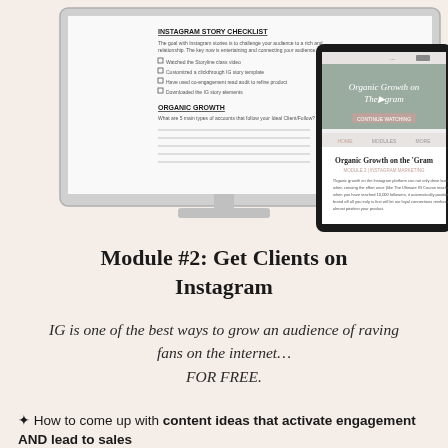[Figure (screenshot): A desktop monitor mockup displaying an 'Instagram Story Checklist' and 'Organic Growth' worksheet, and a tablet mockup showing an 'Organic Growth on Instagram' course module page with text and a video thumbnail.]
Module #2: Get Clients on Instagram
IG is one of the best ways to grow an audience of raving fans on the internet... FOR FREE.
✦ How to come up with content ideas that activate engagement AND lead to sales